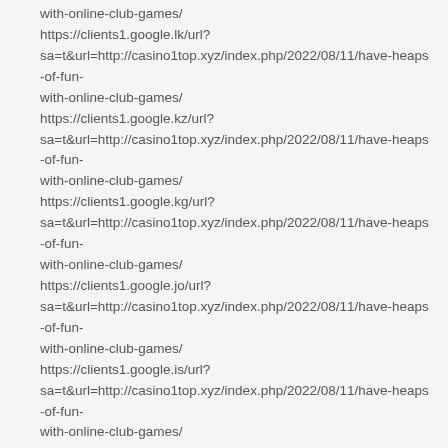with-online-club-games/
https://clients1.google.lk/url?sa=t&url=http://casino1top.xyz/index.php/2022/08/11/have-heaps-of-fun-with-online-club-games/
https://clients1.google.kz/url?sa=t&url=http://casino1top.xyz/index.php/2022/08/11/have-heaps-of-fun-with-online-club-games/
https://clients1.google.kg/url?sa=t&url=http://casino1top.xyz/index.php/2022/08/11/have-heaps-of-fun-with-online-club-games/
https://clients1.google.jo/url?sa=t&url=http://casino1top.xyz/index.php/2022/08/11/have-heaps-of-fun-with-online-club-games/
https://clients1.google.is/url?sa=t&url=http://casino1top.xyz/index.php/2022/08/11/have-heaps-of-fun-with-online-club-games/
https://clients1.google.ie/url?sa=t&url=http://casino1top.xyz/index.php/2022/08/11/have-heaps-of-fun-with-online-club-games/
https://clients1.google.ie/url?q=http://casino1top.xyz/index.php/2022/08/11/have-heaps-of-fun-with-online-club-games/
https://clients1.google.hu/url?sa=t&url=http://casino1top.xyz/index.php/2022/08/11/have-heaps-of-fun-with-online-club-games/